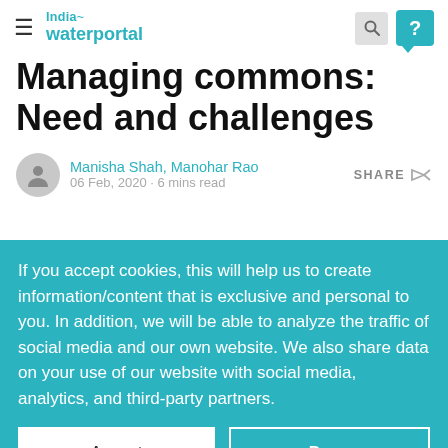India Water Portal
Managing commons: Need and challenges
Manisha Shah, Manohar Rao · 06 Feb, 2020 · 6 mins read
If you accept cookies, this will help us to create information/content that is exclusive and personal to you. In addition, we will be able to analyze the traffic of social media and our own website. We also share data on your use of our website with social media, analytics, and third-party partners.
Accept | Deny